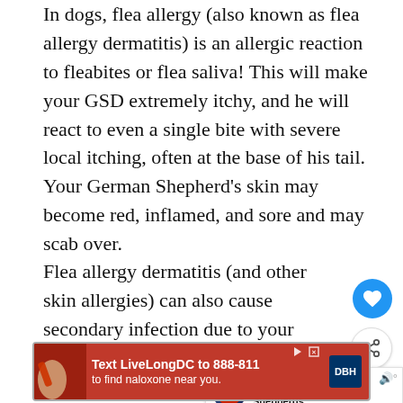In dogs, flea allergy (also known as flea allergy dermatitis) is an allergic reaction to fleabites or flea saliva! This will make your GSD extremely itchy, and he will react to even a single bite with severe local itching, often at the base of his tail. Your German Shepherd's skin may become red, inflamed, and sore and may scab over.
Flea allergy dermatitis (and other skin allergies) can also cause secondary infection due to your German Shepherd's excessively scratching, biting and licking at his skin. These secondary infections, either bacterial or yeast, will also requir...
[Figure (other): Blue circular heart/favorite button icon overlaid on the text]
[Figure (other): White circular share button icon overlaid on the text]
[Figure (other): What's Next panel showing a thumbnail and text 'Are German Shepherds...' with arrow]
[Figure (other): Red advertisement banner: 'Text LiveLongDC to 888-811 to find naloxone near you.' with DBH logo]